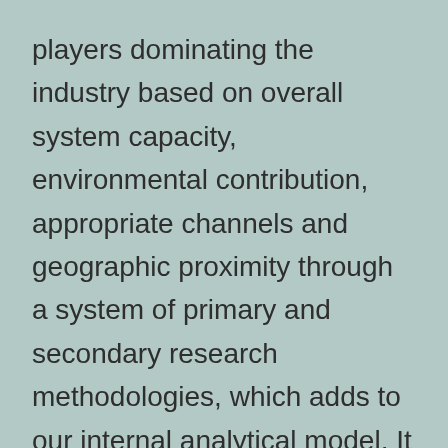players dominating the industry based on overall system capacity, environmental contribution, appropriate channels and geographic proximity through a system of primary and secondary research methodologies, which adds to our internal analytical model. It also displayed monetization and generalized market share for the Healthcare Additive Manufacturing market via charts, graphs, and tables.
Market Segment by Regions, regional analysis covers